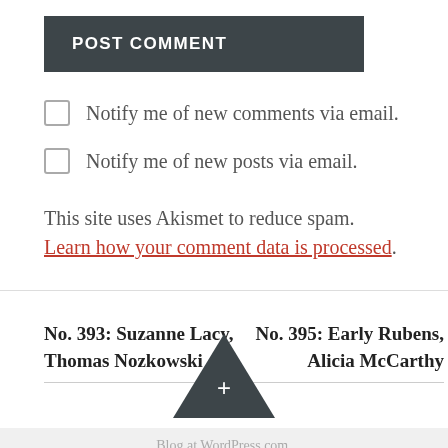POST COMMENT
Notify me of new comments via email.
Notify me of new posts via email.
This site uses Akismet to reduce spam. Learn how your comment data is processed.
No. 393: Suzanne Lacy, Thomas Nozkowski
No. 395: Early Rubens, Alicia McCarthy
[Figure (other): Dark triangle/arrow-up button with a plus sign]
Blog at WordPress.com.